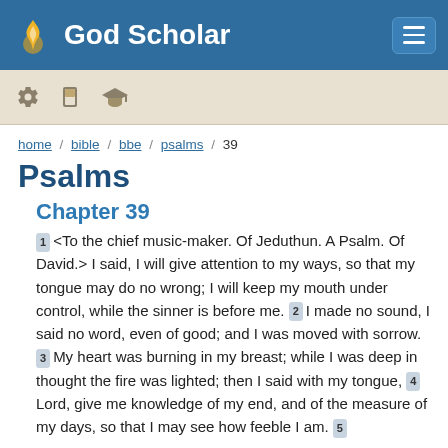God Scholar
[Figure (screenshot): Toolbar with settings, bookmark, and graduation cap icons on a tan background]
home / bible / bbe / psalms / 39
Psalms
Chapter 39
1 <To the chief music-maker. Of Jeduthun. A Psalm. Of David.> I said, I will give attention to my ways, so that my tongue may do no wrong; I will keep my mouth under control, while the sinner is before me. 2 I made no sound, I said no word, even of good; and I was moved with sorrow. 3 My heart was burning in my breast; while I was deep in thought the fire was lighted; then I said with my tongue, 4 Lord, give me knowledge of my end, and of the measure of my days, so that I may see how feeble I am. 5